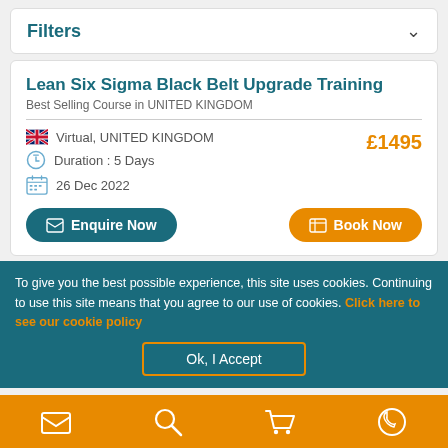Filters
Lean Six Sigma Black Belt Upgrade Training
Best Selling Course in UNITED KINGDOM
Virtual, UNITED KINGDOM   £1495
Duration : 5 Days
26 Dec 2022
Enquire Now   Book Now
To give you the best possible experience, this site uses cookies. Continuing to use this site means that you agree to our use of cookies. Click here to see our cookie policy
Ok, I Accept